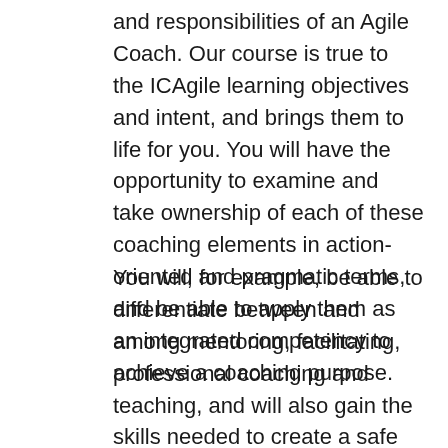and responsibilities of an Agile Coach. Our course is true to the ICAgile learning objectives and intent, and brings them to life for you. You will have the opportunity to examine and take ownership of each of these coaching elements in action-oriented and pragmatic terms, and be able to apply them as an integrated competency to achieve a coaching purpose.
You will, for example, be able to differentiate between and among mentoring, facilitating, professional coaching and teaching, and will also gain the skills needed to create a safe environment for meaningful collaboration and healthy conflict resolution within an agile team. This course introduces you to foundational team coaching skills and team development concepts; the skills needed to initiate a successful coaching engagement and to start, nurture, remedy and establish high performing, self-managed teams, viewing them and their surrounding organization as